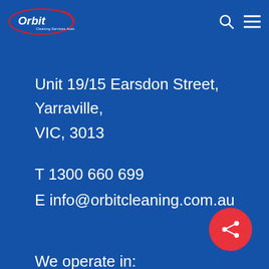[Figure (logo): Orbit Cleaning Services Australia logo — white oval with red accent and white text 'Orbit' with tagline below]
Unit 19/15 Earsdon Street,
Yarraville,
VIC, 3013
T 1300 660 699
E info@orbitcleaning.com.au
We operate in:
– Melbourne